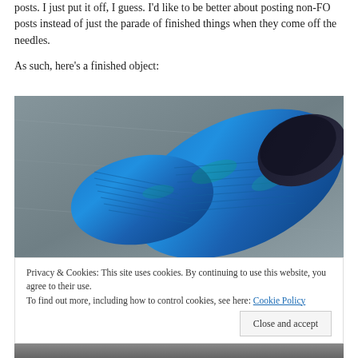posts. I just put it off, I guess. I'd like to be better about posting non-FO posts instead of just the parade of finished things when they come off the needles.
As such, here's a finished object:
[Figure (photo): A blue knitted sock with dark cuff on a grey stone surface]
Privacy & Cookies: This site uses cookies. By continuing to use this website, you agree to their use.
To find out more, including how to control cookies, see here: Cookie Policy
[Figure (photo): Bottom portion of another photo, partially visible]